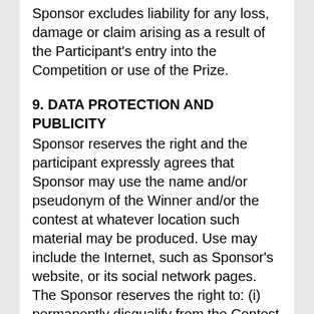Sponsor excludes liability for any loss, damage or claim arising as a result of the Participant's entry into the Competition or use of the Prize.
9. DATA PROTECTION AND PUBLICITY
Sponsor reserves the right and the participant expressly agrees that Sponsor may use the name and/or pseudonym of the Winner and/or the contest at whatever location such material may be produced. Use may include the Internet, such as Sponsor's website, or its social network pages. The Sponsor reserves the right to: (i) permanently disqualify from the Contest any person it believes has intentionally violated these Official Rules; and (ii) cancel, suspend and/or modify the Contest without any liability if any fraud, virus or other factor beyond Sponsor's reasonable control impairs the administration, functioning or proper play of